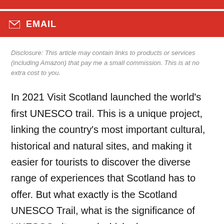EMAIL
Disclosure: This article may contain links to products or services (including Amazon) that pay me a small commission. This is at no extra cost to you.
In 2021 Visit Scotland launched the world's first UNESCO trail. This is a unique project, linking the country's most important cultural, historical and natural sites, and making it easier for tourists to discover the diverse range of experiences that Scotland has to offer. But what exactly is the Scotland UNESCO Trail, what is the significance of UNESCO sites, and which places are included in the list?